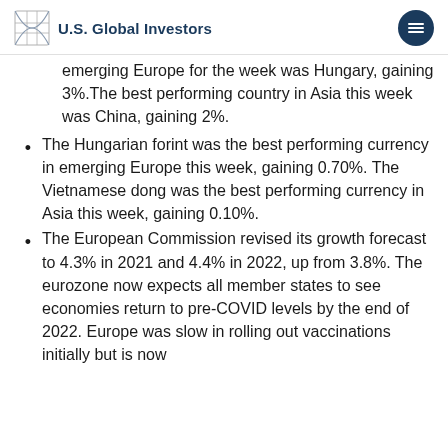U.S. Global Investors
emerging Europe for the week was Hungary, gaining 3%.The best performing country in Asia this week was China, gaining 2%.
The Hungarian forint was the best performing currency in emerging Europe this week, gaining 0.70%. The Vietnamese dong was the best performing currency in Asia this week, gaining 0.10%.
The European Commission revised its growth forecast to 4.3% in 2021 and 4.4% in 2022, up from 3.8%. The eurozone now expects all member states to see economies return to pre-COVID levels by the end of 2022. Europe was slow in rolling out vaccinations initially but is now